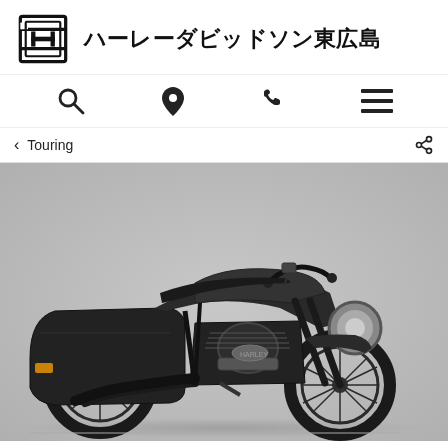ハーレーダビッドソン東広島
[Figure (logo): Harley-Davidson bar and shield logo in black]
[Figure (infographic): Navigation icons: search magnifying glass, location pin, phone, hamburger menu]
< Touring
[Figure (photo): Dark gray/charcoal Harley-Davidson Road King Special touring motorcycle on a light gray background, side profile view showing saddlebags, chrome engine, spoke wheels, and round headlight]